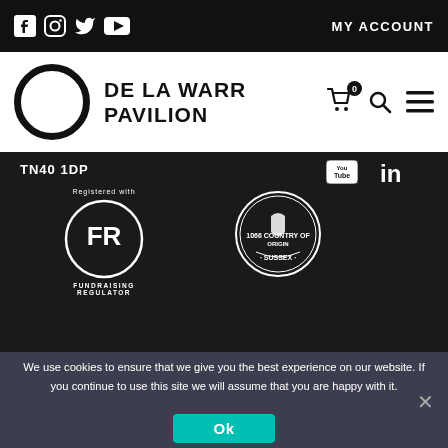Social media icons (Facebook, Instagram, Twitter, YouTube) | MY ACCOUNT
[Figure (logo): De La Warr Pavilion logo — circle with text DE LA WARR PAVILION]
Shopping cart with 0, search icon, hamburger menu
TN40 1DP
[Figure (logo): Fundraising Regulator FR badge — Registered with FR Fundraising Regulator]
[Figure (logo): 1066 Country of Origin Sussex circular badge]
© De La Warr Pavilion 2022
We use cookies to ensure that we give you the best experience on our website. If you continue to use this site we will assume that you are happy with it.